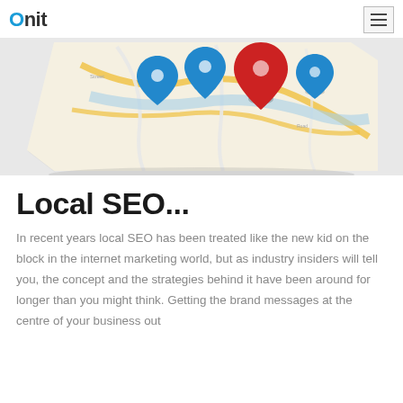Onit
[Figure (illustration): A folded paper map with blue and red location pin markers on top, on a light grey background]
Local SEO...
In recent years local SEO has been treated like the new kid on the block in the internet marketing world, but as industry insiders will tell you, the concept and the strategies behind it have been around for longer than you might think. Getting the brand messages at the centre of your business out